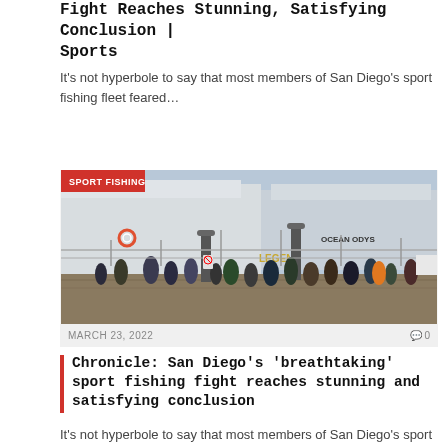Fight Reaches Stunning, Satisfying Conclusion | Sports
It's not hyperbole to say that most members of San Diego's sport fishing fleet feared…
[Figure (photo): Crowd of people on a marina dock with sport fishing boats including vessels named LEGEND and OCEAN ODYSSEY docked in background. Red badge in top-left reads 'SPORT FISHING'.]
MARCH 23, 2022   🗨 0
Chronicle: San Diego's 'breathtaking' sport fishing fight reaches stunning and satisfying conclusion
It's not hyperbole to say that most members of San Diego's sport